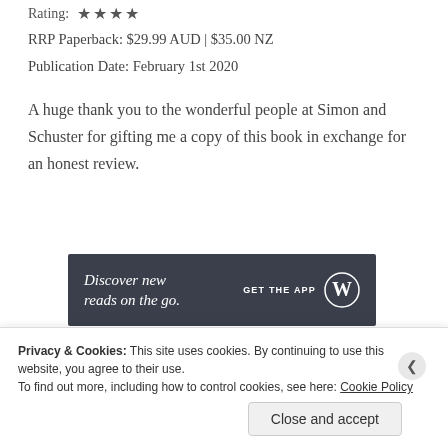Rating: ★★★★
RRP Paperback: $29.99 AUD | $35.00 NZ
Publication Date: February 1st 2020
A huge thank you to the wonderful people at Simon and Schuster for gifting me a copy of this book in exchange for an honest review.
[Figure (other): Dark advertisement banner reading 'Discover new reads on the go. GET THE APP' with WordPress logo]
REPORT THIS AD
Cook the review
Privacy & Cookies: This site uses cookies. By continuing to use this website, you agree to their use. To find out more, including how to control cookies, see here: Cookie Policy
Close and accept